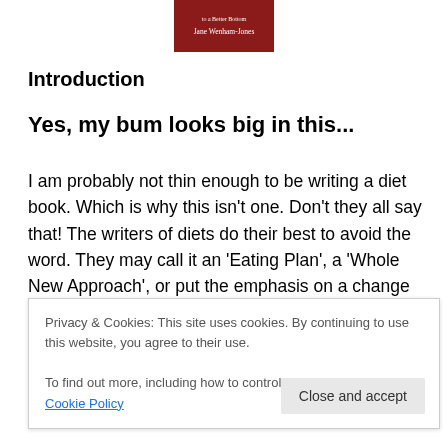[Figure (illustration): Book cover with dark red background showing text 'to a Better Bottom' and 'Jane Wenham-Jones']
Introduction
Yes, my bum looks big in this...
I am probably not thin enough to be writing a diet book. Which is why this isn't one. Don't they all say that! The writers of diets do their best to avoid the word. They may call it an 'Eating Plan', a 'Whole New Approach', or put the emphasis on a change of 'Lifestyle'. But scratch the surface and underneath they've all got the same bad
Privacy & Cookies: This site uses cookies. By continuing to use this website, you agree to their use.
To find out more, including how to control cookies, see here: Cookie Policy
and 'healthy'. They tell you that, after reading these